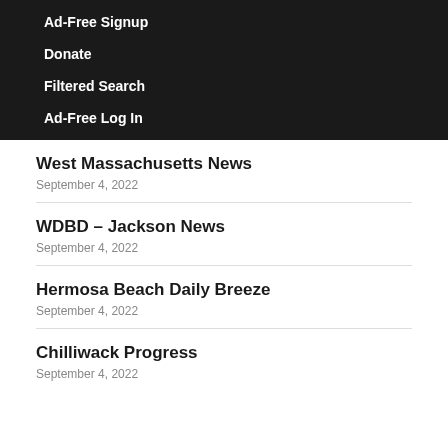Ad-Free Signup
Donate
Filtered Search
Ad-Free Log In
West Massachusetts News
September 4, 2022
WDBD – Jackson News
September 4, 2022
Hermosa Beach Daily Breeze
September 4, 2022
Chilliwack Progress
September 4, 2022